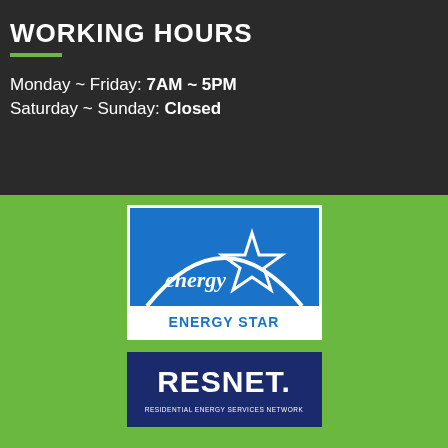WORKING HOURS
Monday ~ Friday: 7AM ~ 5PM
Saturday ~ Sunday: Closed
[Figure (logo): ENERGY STAR logo - blue square with white arc/dome shape, star, and 'energy' cursive script. White banner at bottom with blue text 'ENERGY STAR']
[Figure (logo): RESNET logo - dark navy blue rectangle with white bold text 'RESNET.' and smaller text 'RESIDENTIAL ENERGY SERVICES NETWORK']